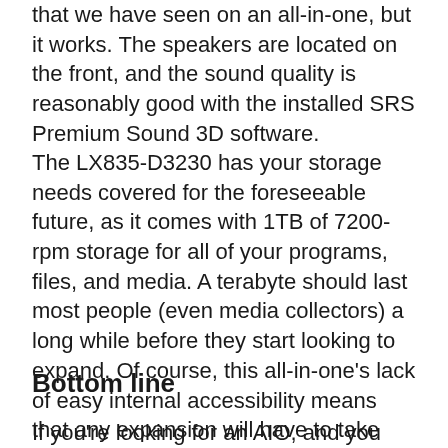that we have seen on an all-in-one, but it works. The speakers are located on the front, and the sound quality is reasonably good with the installed SRS Premium Sound 3D software.
The LX835-D3230 has your storage needs covered for the foreseeable future, as it comes with 1TB of 7200-rpm storage for all of your programs, files, and media. A terabyte should last most people (even media collectors) a long while before they start looking to expand. Of course, this all-in-one's lack of easy internal accessibility means that any expansion will have to take the form of an external drive.
Bottom line
If you're looking for an AIO, and you want to get a